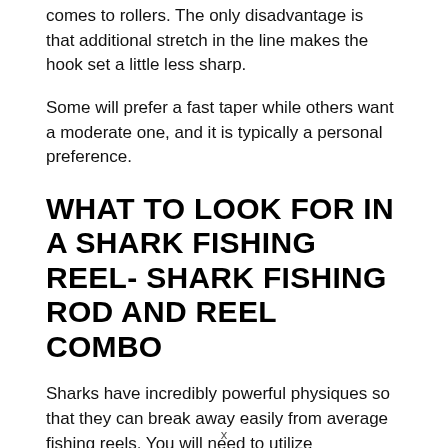comes to rollers. The only disadvantage is that additional stretch in the line makes the hook set a little less sharp.
Some will prefer a fast taper while others want a moderate one, and it is typically a personal preference.
WHAT TO LOOK FOR IN A SHARK FISHING REEL- SHARK FISHING ROD AND REEL COMBO
Sharks have incredibly powerful physiques so that they can break away easily from average fishing reels. You will need to utilize something strong enough to overwhelm the shark's strength and make it more effortless for you to haul them in. Choosing the best shark fishing reel on the market can be a task if you do not have enough information. The